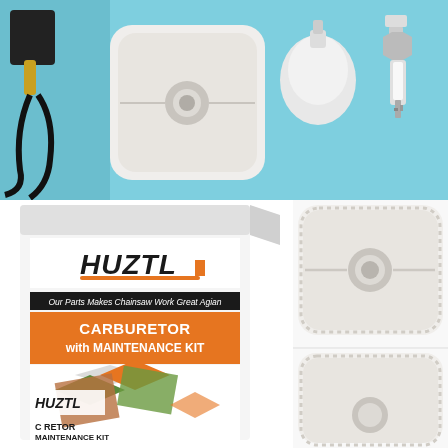[Figure (photo): Product photo on light blue background showing chainsaw maintenance kit parts: ignition coil with wire, square white air filter, primer bulb, and spark plug]
[Figure (photo): HUZTL branded Carburetor with Maintenance Kit product box with orange and white design, showing the text 'Our Parts Makes Chainsaw Work Great Agian' and collage of chainsaw images]
[Figure (photo): Close-up of white square air filter with rounded corners and center hole, and partial view of another filter below]